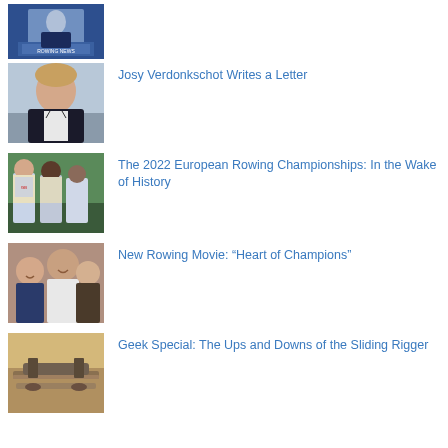[Figure (photo): Person in blue uniform with name badge, partially visible at top]
[Figure (photo): Man in dark jacket, portrait photo]
Josy Verdonkschot Writes a Letter
[Figure (photo): Rowing athletes in team vests outdoors]
The 2022 European Rowing Championships: In the Wake of History
[Figure (photo): Group of people smiling, casual photo]
New Rowing Movie: “Heart of Champions”
[Figure (photo): Equipment or mechanical part, rowing related]
Geek Special: The Ups and Downs of the Sliding Rigger